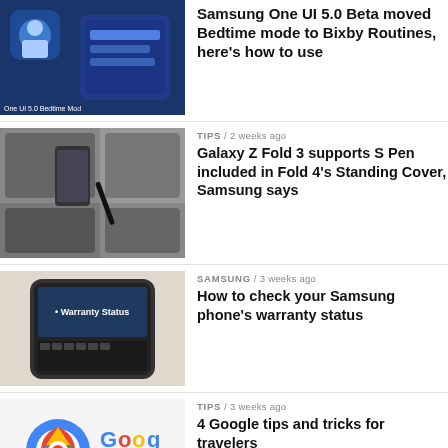[Figure (screenshot): Blue tech graphic with One UI 5.0 Bedtime Mode label]
Samsung One UI 5.0 Beta moved Bedtime mode to Bixby Routines, here’s how to use
TIPS / 2 weeks ago
[Figure (photo): Galaxy Z Fold 3 with S Pen and phone accessories]
Galaxy Z Fold 3 supports S Pen included in Fold 4’s Standing Cover, Samsung says
SAMSUNG / 3 weeks ago
[Figure (photo): Samsung phone showing Warranty Status screen]
How to check your Samsung phone’s warranty status
TIPS / 3 weeks ago
[Figure (photo): Google Maps icon and Google logo with airplane icon]
4 Google tips and tricks for travelers
TIPS / 3 weeks ago
[Figure (photo): Samsung Galaxy S22 camera array detail]
Samsung Galaxy S22 tips and tricks to make the most of it